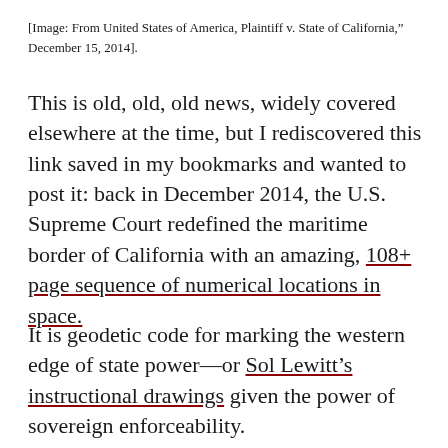[Image: From United States of America, Plaintiff v. State of California," December 15, 2014].
This is old, old, old news, widely covered elsewhere at the time, but I rediscovered this link saved in my bookmarks and wanted to post it: back in December 2014, the U.S. Supreme Court redefined the maritime border of California with an amazing, 108+ page sequence of numerical locations in space.
It is geodetic code for marking the western edge of state power—or Sol Lewitt's instructional drawings given the power of sovereign enforceability.